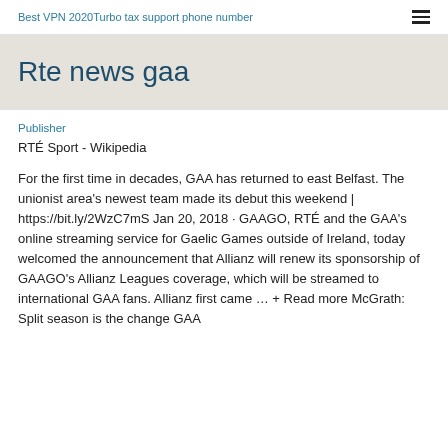Best VPN 2020Turbo tax support phone number
Rte news gaa
Publisher
RTÉ Sport - Wikipedia
For the first time in decades, GAA has returned to east Belfast. The unionist area's newest team made its debut this weekend | https://bit.ly/2WzC7mS Jan 20, 2018 · GAAGO, RTÉ and the GAA's online streaming service for Gaelic Games outside of Ireland, today welcomed the announcement that Allianz will renew its sponsorship of GAAGO's Allianz Leagues coverage, which will be streamed to international GAA fans. Allianz first came … + Read more McGrath: Split season is the change GAA